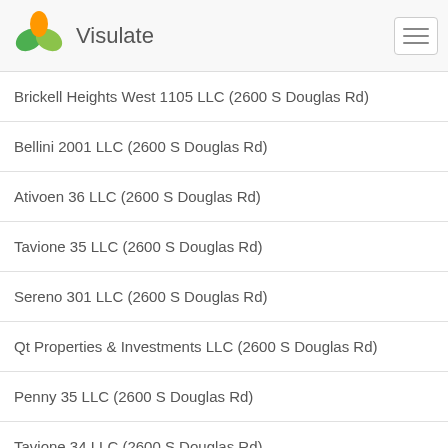Visulate
Brickell Heights West 1105 LLC (2600 S Douglas Rd)
Bellini 2001 LLC (2600 S Douglas Rd)
Ativoen 36 LLC (2600 S Douglas Rd)
Tavione 35 LLC (2600 S Douglas Rd)
Sereno 301 LLC (2600 S Douglas Rd)
Qt Properties & Investments LLC (2600 S Douglas Rd)
Penny 35 LLC (2600 S Douglas Rd)
Tavione 34 LLC (2600 S Douglas Rd)
1010 Brickell 3111 LLC (2600 S Douglas Rd)
1010 Brickell 2608 LLC (2600 S Douglas Rd)